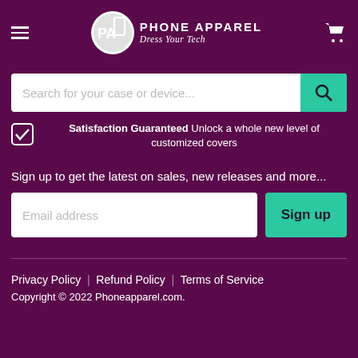[Figure (logo): Phone Apparel logo: circular badge with 'PA' monogram, text 'PHONE APPAREL' and tagline 'Dress Your Tech' in white on dark purple background with hamburger menu and cart icon]
Search for your case or device...
Satisfaction Guaranteed Unlock a whole new level of customized covers
Sign up to get the latest on sales, new releases and more...
Email address
Sign up
Privacy Policy  |  Refund Policy  |  Terms of Service
Copyright © 2022 Phoneapparel.com.